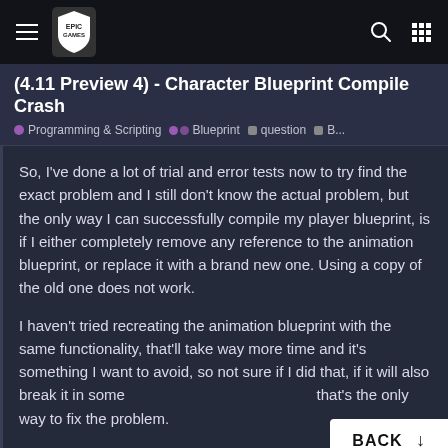Epic Games navigation bar
(4.11 Preview 4) - Character Blueprint Compile Crash
Programming & Scripting  Blueprint  question  B...
So, I've done a lot of trial and error tests now to try find the exact problem and I still don't know the actual problem, but the only way I can successfully compile my player blueprint, is if I either completely remove any reference to the animation blueprint, or replace it with a brand new one. Using a copy of the old one does not work.
I haven't tried recreating the animation blueprint with the same functionality, that'll take way more time and it's something I want to avoid, so not sure if I did that, if it will also break it in some [BACK ↓] that's the only way to fix the problem.
On my original animation blueprint, I
8 / 20